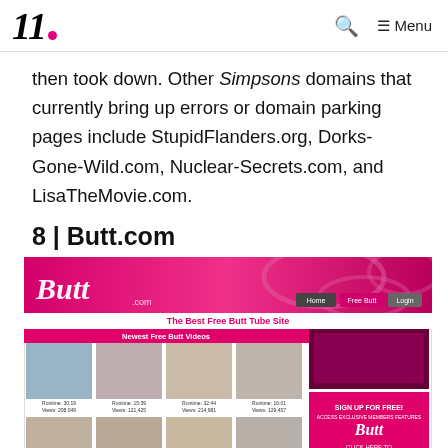11. [logo with pink dot] Q  ≡ Menu
then took down. Other Simpsons domains that currently bring up errors or domain parking pages include StupidFlanders.org, Dorks-Gone-Wild.com, Nuclear-Secrets.com, and LisaTheMovie.com.
8 | Butt.com
[Figure (screenshot): Screenshot of Butt.com website showing a pink-themed adult video website with the logo 'Butt', navigation buttons (Home, Free Butt, Login), tagline 'The Best Free Butt Tube Site', a row of blurred video thumbnails labeled 'Newest Free Butt Videos', and a 'Sign Up For Free' sidebar advertisement.]